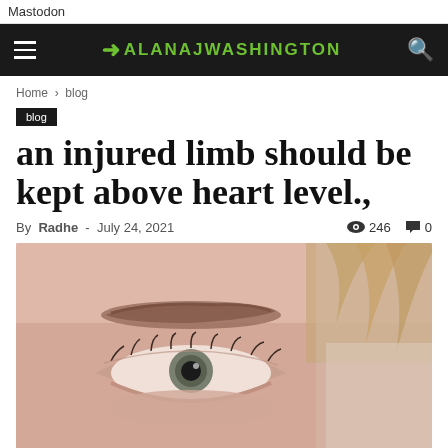Mastodon
ALANAJWASHINGTON
Home › blog
blog
an injured limb should be kept above heart level.,
By Radhe - July 24, 2021  246  0
[Figure (photo): Close-up photo of a person's eye, with visible eyebrow, eyelashes, and reddish skin tone around the eye area.]